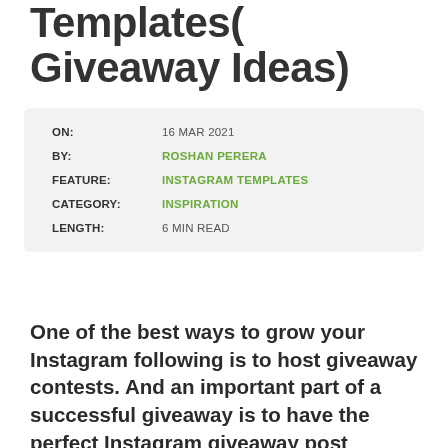Templates( Giveaway Ideas)
| ON: | 16 MAR 2021 |
| BY: | ROSHAN PERERA |
| FEATURE: | INSTAGRAM TEMPLATES |
| CATEGORY: | INSPIRATION |
| LENGTH: | 6 MIN READ |
One of the best ways to grow your Instagram following is to host giveaway contests. And an important part of a successful giveaway is to have the perfect Instagram giveaway post design.